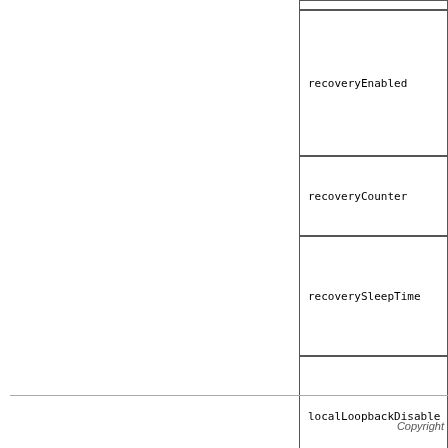| recoveryEnabled |
| recoveryCounter |
| recoverySleepTime |
| localLoopbackDisable |
Copyright